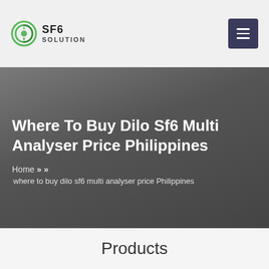SF6 SOLUTION
Where To Buy Dilo Sf6 Multi Analyser Price Philippines
Home » » where to buy dilo sf6 multi analyser price Philippines
Products